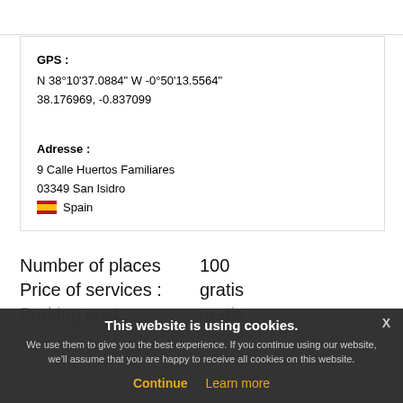GPS :
N 38°10'37.0884" W -0°50'13.5564"
38.176969, -0.837099
Adresse :
9 Calle Huertos Familiares
03349 San Isidro
🇪🇸 Spain
Number of places    100
Price of services :    gratis
Parking cost :    gratis
This website is using cookies. We use them to give you the best experience. If you continue using our website, we'll assume that you are happy to receive all cookies on this website. Continue  Learn more